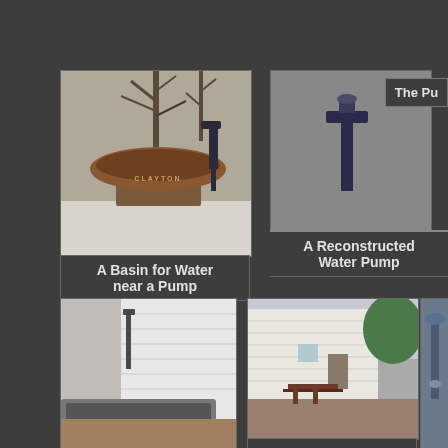[Figure (photo): A basin/birdbath labeled CLAYTON near a hand water pump, with bare trees in the background]
A Basin for Water near a Pump
[Figure (photo): A reconstructed water pump]
A Reconstructed Water Pump
The Pu
[Figure (photo): A stone water trough near a white clapboard building with a pump mounted on the wall]
[Figure (photo): A white clapboard building exterior with a picnic table beside it and trees in the background]
A Picnic Table by the Water Pump
[Figure (photo): Partial view of a decorative water fountain or pump]